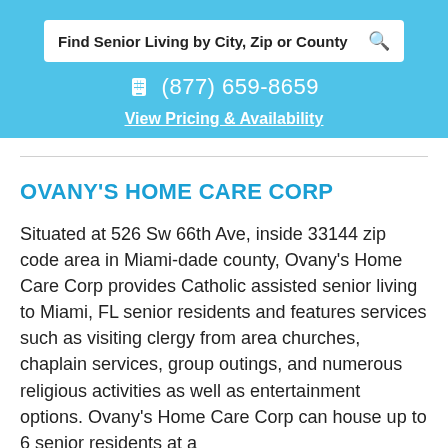Find Senior Living by City, Zip or County
(877) 659-8659
View Pricing & Availability
OVANY'S HOME CARE CORP
Situated at 526 Sw 66th Ave, inside 33144 zip code area in Miami-dade county, Ovany's Home Care Corp provides Catholic assisted senior living to Miami, FL senior residents and features services such as visiting clergy from area churches, chaplain services, group outings, and numerous religious activities as well as entertainment options. Ovany's Home Care Corp can house up to 6 senior residents at a